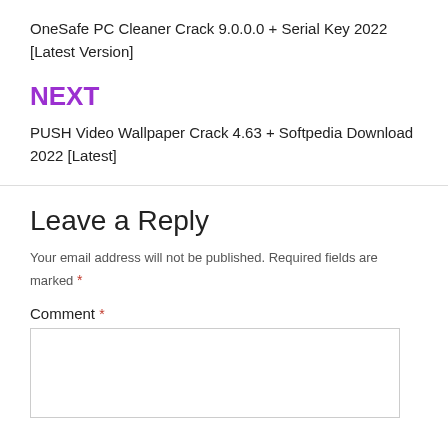OneSafe PC Cleaner Crack 9.0.0.0 + Serial Key 2022 [Latest Version]
NEXT
PUSH Video Wallpaper Crack 4.63 + Softpedia Download 2022 [Latest]
Leave a Reply
Your email address will not be published. Required fields are marked *
Comment *